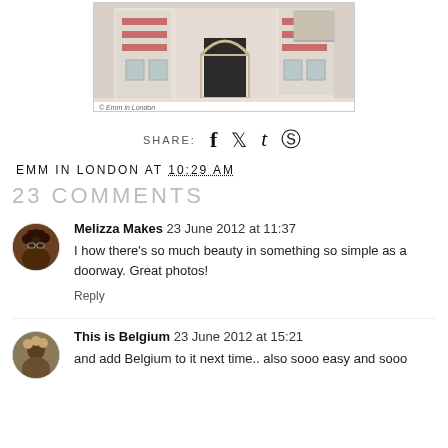[Figure (photo): Photograph of a European building facade with arched doorway, red brick detailing and large green doors, with caption '© Emm in London']
SHARE: [facebook] [twitter] [tumblr] [pinterest]
EMM IN LONDON AT 10:29 AM
23 COMMENTS
Melizza Makes 23 June 2012 at 11:37
I how there's so much beauty in something so simple as a doorway. Great photos!
Reply
This is Belgium 23 June 2012 at 15:21
and add Belgium to it next time.. also sooo easy and sooo